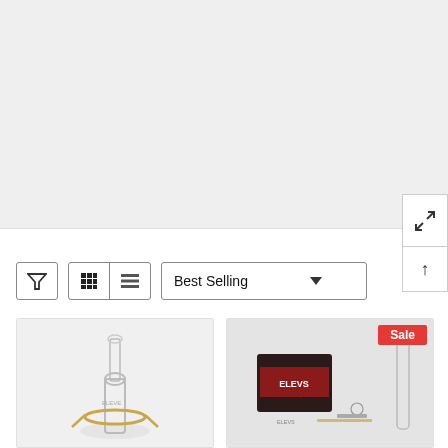[Figure (screenshot): Gray banner / hero image area at top of e-commerce page]
[Figure (screenshot): Expand/fullscreen icon button (arrow pointing out of box)]
[Figure (screenshot): Scroll to top arrow button]
[Figure (screenshot): Toolbar with filter icon, grid/list view toggle, and Best Selling sort dropdown]
[Figure (photo): Product photo: glass bong/pipe with gold metal ring on light gray background]
[Figure (photo): Product photo: ELEVS brand kit with glass piece and accessories, Sale badge in red]